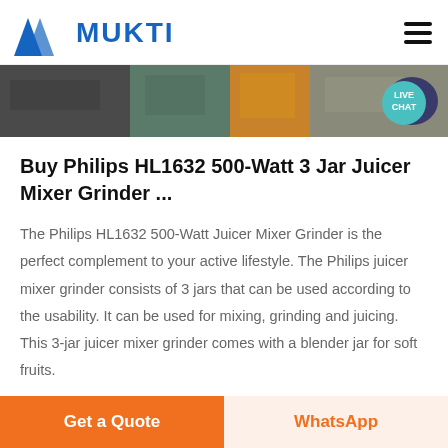MUKTI
[Figure (photo): Banner image showing industrial/outdoor scenes with machinery and equipment]
Buy Philips HL1632 500-Watt 3 Jar Juicer Mixer Grinder ...
The Philips HL1632 500-Watt Juicer Mixer Grinder is the perfect complement to your active lifestyle. The Philips juicer mixer grinder consists of 3 jars that can be used according to the usability. It can be used for mixing, grinding and juicing. This 3-jar juicer mixer grinder comes with a blender jar for soft fruits.
Get a Quote | WhatsApp